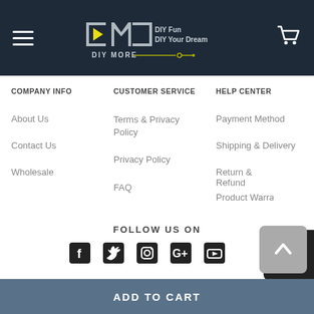DIY MORE - DIY Fun DIY Your Dream - Header with hamburger menu and cart
COMPANY INFO
About Us
Contact Us
Wholesale
CUSTOMER SERVICE
Terms & Privacy Policy
Privacy Policy
FAQ
HELP CENTER
Payment Method
Shipping & Delivery
Return & Refund
Product Warra...
FOLLOW US ON
[Figure (infographic): Social media icons: Facebook, Twitter, Instagram, Google+, YouTube]
NEWSLETTER
ADD TO CART